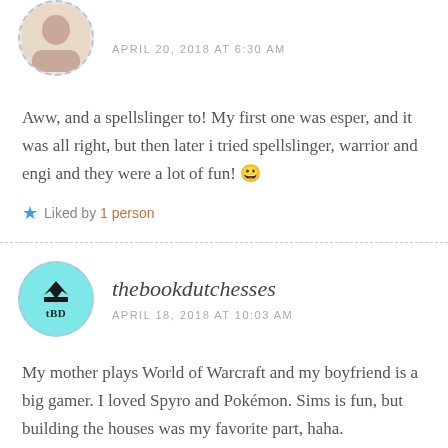[Figure (photo): Circular avatar photo of a person, with dashed border, partially visible at top]
APRIL 20, 2018 AT 6:30 AM
Aww, and a spellslinger to! My first one was esper, and it was all right, but then later i tried spellslinger, warrior and engi and they were a lot of fun! 😀
★ Liked by 1 person
[Figure (logo): Circular teal avatar with crown icon and tBD text, dashed border]
thebookdutchesses
APRIL 18, 2018 AT 10:03 AM
My mother plays World of Warcraft and my boyfriend is a big gamer. I loved Spyro and Pokémon. Sims is fun, but building the houses was my favorite part, haha.